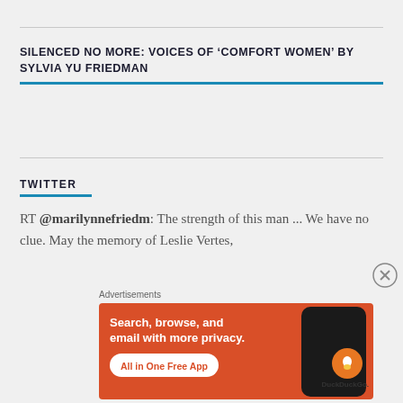SILENCED NO MORE: VOICES OF ‘COMFORT WOMEN’ BY SYLVIA YU FRIEDMAN
TWITTER
RT @marilynnefriedm: The strength of this man ... We have no clue. May the memory of Leslie Vertes,
Advertisements
[Figure (screenshot): DuckDuckGo advertisement: orange background with phone graphic, text 'Search, browse, and email with more privacy. All in One Free App', DuckDuckGo logo]